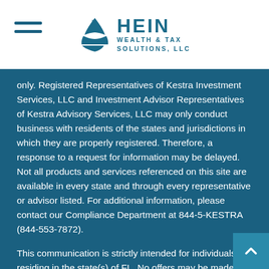HEIN WEALTH & TAX SOLUTIONS, LLC
only. Registered Representatives of Kestra Investment Services, LLC and Investment Advisor Representatives of Kestra Advisory Services, LLC may only conduct business with residents of the states and jurisdictions in which they are properly registered. Therefore, a response to a request for information may be delayed. Not all products and services referenced on this site are available in every state and through every representative or advisor listed. For additional information, please contact our Compliance Department at 844-5-KESTRA (844-553-7872).
This communication is strictly intended for individuals residing in the state(s) of FL. No offers may be made or accepted from any resident outside the specific states referenced.